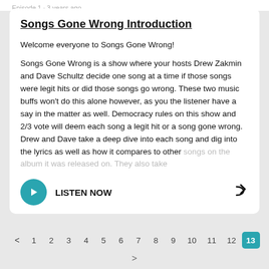Episode 1 · 3 years ago
Songs Gone Wrong Introduction
Welcome everyone to Songs Gone Wrong!
Songs Gone Wrong is a show where your hosts Drew Zakmin and Dave Schultz decide one song at a time if those songs were legit hits or did those songs go wrong. These two music buffs won't do this alone however, as you the listener have a say in the matter as well. Democracy rules on this show and 2/3 vote will deem each song a legit hit or a song gone wrong. Drew and Dave take a deep dive into each song and dig into the lyrics as well as how it compares to other songs on the album it was released on. They also take
LISTEN NOW
< 1 2 3 4 5 6 7 8 9 10 11 12 13